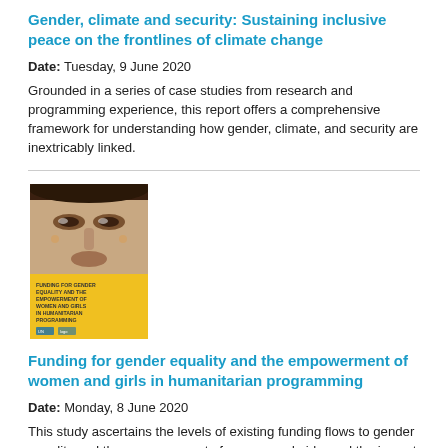Gender, climate and security: Sustaining inclusive peace on the frontlines of climate change
Date: Tuesday, 9 June 2020
Grounded in a series of case studies from research and programming experience, this report offers a comprehensive framework for understanding how gender, climate, and security are inextricably linked.
[Figure (photo): Book cover of 'Funding for gender equality and the empowerment of women and girls in humanitarian programming' featuring a close-up portrait of a woman's face with yellow lower section showing the title text and UN/partner logos]
Funding for gender equality and the empowerment of women and girls in humanitarian programming
Date: Monday, 8 June 2020
This study ascertains the levels of existing funding flows to gender equality and the empowerment of women and girls, and the impact of shortfalls on global humanitarian outcomes.